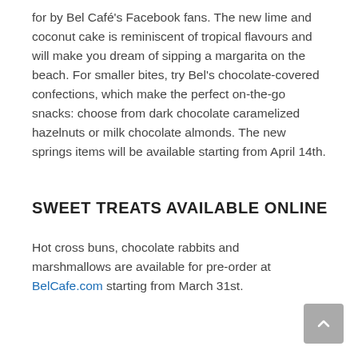for by Bel Café's Facebook fans. The new lime and coconut cake is reminiscent of tropical flavours and will make you dream of sipping a margarita on the beach. For smaller bites, try Bel's chocolate-covered confections, which make the perfect on-the-go snacks: choose from dark chocolate caramelized hazelnuts or milk chocolate almonds. The new springs items will be available starting from April 14th.
SWEET TREATS AVAILABLE ONLINE
Hot cross buns, chocolate rabbits and marshmallows are available for pre-order at BelCafe.com starting from March 31st.